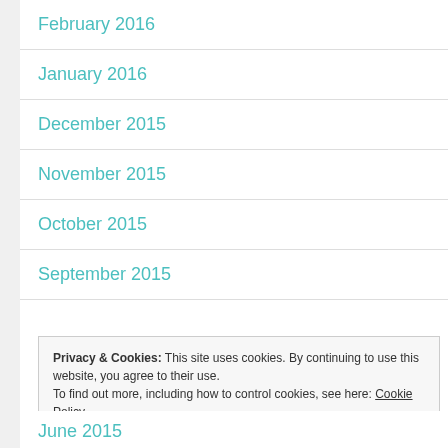February 2016
January 2016
December 2015
November 2015
October 2015
September 2015
Privacy & Cookies: This site uses cookies. By continuing to use this website, you agree to their use.
To find out more, including how to control cookies, see here: Cookie Policy
Close and accept
June 2015